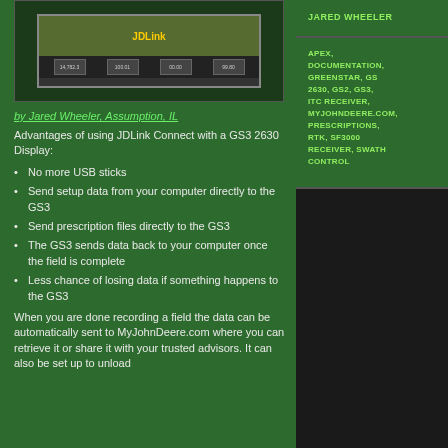[Figure (screenshot): Screenshot of a John Deere GS3 2630 display showing field data interface]
by Jared Wheeler, Assumption, IL
Advantages of using JDLink Connect with a GS3 2630 Display:
No more USB sticks
Send setup data from your computer directly to the GS3
Send prescription files directly to the GS3
The GS3 sends data back to your computer once the field is complete
Less chance of losing data if something happens to the GS3
When you are done recording a field the data can be automatically sent to MyJohnDeere.com where you can retrieve it or share it with your trusted advisors.  It can also be set up to unload
JARED WHEELER
APEX, DOCUMENTATION, GREENSTAR, GS 2630, GS2, GS3, ITC RECEIVER, MYJOHNDEERE.COM, PRESCRIPTIONS, RTK, SF3000 RECEIVER, SWATH CONTROL